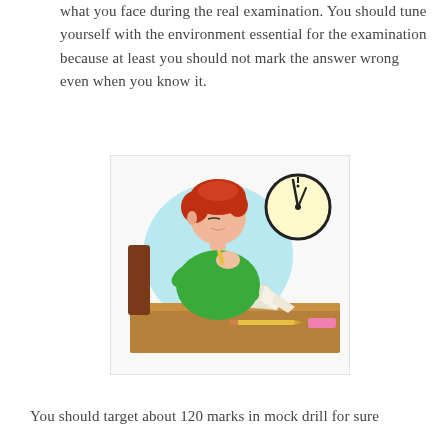what you face during the real examination. You should tune yourself with the environment essential for the examination because at least you should not mark the answer wrong even when you know it.
[Figure (illustration): Clip art illustration of a student with red hair wearing a green shirt, sitting at a brown desk, holding a pencil to their mouth thoughtfully while looking at papers. A wall clock showing nearly 12 o'clock is in the upper right. A pencil and pink eraser are on the desk. Light blue circular background behind the student.]
You should target about 120 marks in mock drill for sure